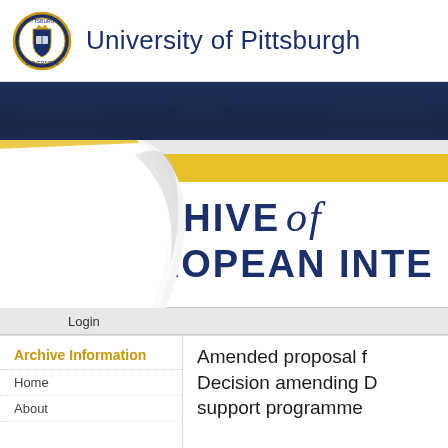[Figure (logo): University of Pittsburgh seal/crest logo, circular with blue and gold colors]
University of Pittsburgh
[Figure (illustration): Dark navy blue decorative banner strip]
[Figure (illustration): Decorative page-curl graphic with yellow and white layers, curling from bottom-left corner]
ARCHIVE of EUROPEAN INTE
Login
Archive Information
Home
About
Amended proposal f... Decision amending D... support programme